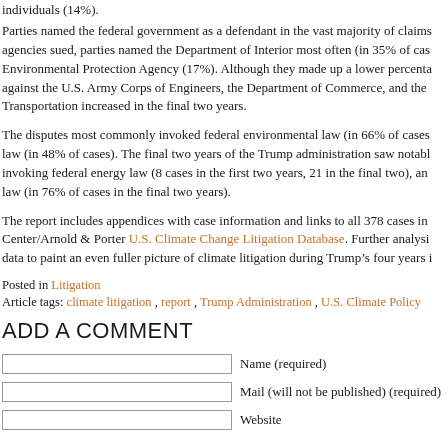individuals (14%).
Parties named the federal government as a defendant in the vast majority of claims agencies sued, parties named the Department of Interior most often (in 35% of cases Environmental Protection Agency (17%). Although they made up a lower percentage against the U.S. Army Corps of Engineers, the Department of Commerce, and the Transportation increased in the final two years.
The disputes most commonly invoked federal environmental law (in 66% of cases law (in 48% of cases). The final two years of the Trump administration saw notable invoking federal energy law (8 cases in the first two years, 21 in the final two), and law (in 76% of cases in the final two years).
The report includes appendices with case information and links to all 378 cases in Center/Arnold & Porter U.S. Climate Change Litigation Database. Further analysis data to paint an even fuller picture of climate litigation during Trump’s four years in
Posted in Litigation
Article tags: climate litigation , report , Trump Administration , U.S. Climate Policy
ADD A COMMENT
Name (required)
Mail (will not be published) (required)
Website